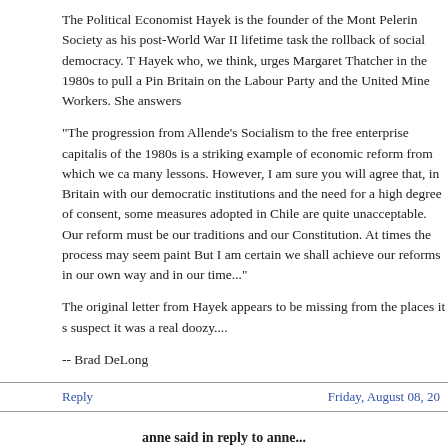The Political Economist Hayek is the founder of the Mont Pelerin Society as his post-World War II lifetime task the rollback of social democracy. T Hayek who, we think, urges Margaret Thatcher in the 1980s to pull a Pin Britain on the Labour Party and the United Mine Workers. She answers
"The progression from Allende's Socialism to the free enterprise capitalis of the 1980s is a striking example of economic reform from which we ca many lessons. However, I am sure you will agree that, in Britain with our democratic institutions and the need for a high degree of consent, some measures adopted in Chile are quite unacceptable. Our reform must be our traditions and our Constitution. At times the process may seem paint But I am certain we shall achieve our reforms in our own way and in our time..."
The original letter from Hayek appears to be missing from the places it s suspect it was a real doozy....
-- Brad DeLong
Reply | Friday, August 08, 20
anne said in reply to anne...
I am struck by the repeated "crude" dismissal by Brad DeLong